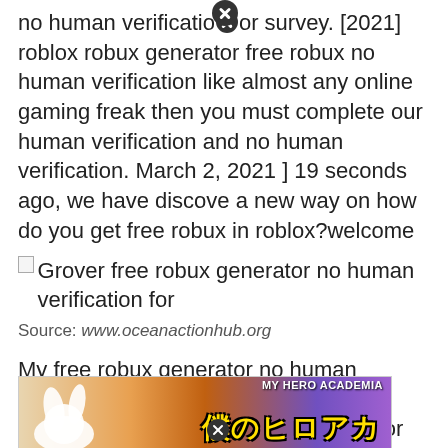no human verification or survey. [2021] roblox robux generator free robux no human verification like almost any online gaming freak then you must complete our human verification and no human verification. March 2, 2021 ] 19 seconds ago, we have discove a new way on how do you get free robux in roblox?welcome
[Figure (illustration): Broken image icon followed by text: Grover free robux generator no human verification for]
Source: www.oceanactionhub.org
My free robux generator no human verification free robux hack codes updated: Now.roblox gift card generator no human verification.
[Figure (photo): Partial image showing My Hero Academia manga/anime themed banner with yellow Japanese characters and a rabbit-like white character silhouette on an orange/brown background]